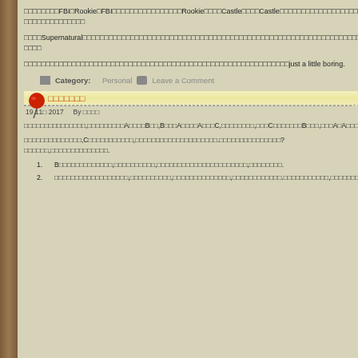□□□□□□□□FBI□Rookie□FBI□□□□□□□□□□□□□□□□Rookie□□□□Castle□□□□Castle□□□□□□□□□□□□□□□□□□□□□□□□□
□□□□Supernatural□□□□□□□□□□□□□□□□□□□□□□□□□□□□□□□□□□□□□□□□□□□□□□□□□□□□□□□□□□□□□□□□□□□□□□□□□□□□□□□□□□□□□□□□□□□□□□□□□□□□□□□□□□□□□□□
□□□□□□□□□□□□□□□□□□□□□□□□□□□□□□□□□□□□□□□□□□□□□□□□□□□□□□□□□□□□□just a little boring.
Category: Personal   Leave a Comment
□□□□□□□
19 11□ 2017    By □□□□
□□□□□□□□□□□□□□□,□□□□□□□□□A□□□□B□□,B□□□A□□□□A□□□C,□□□□□□□□,□□□C□□□□□□□B□□□,□□□A□A□□□□□.
□□□□□□□□□□□□□□,C□□□□□□□□□□□,□□□□□□□□□□□□□□□□□□□□.□□□□□□□□□□□□□□□?□□□□□□,□□□□□□□□□□□□□□.
1.  B□□□□□□□□□□□□□,□□□□□□□□□□,□□□□□□□□□□□□□□□□□□□□□□,□□□□□□□□.
2.  □□□□□□□□□□□□□□□□□□,□□□□□□□□□□,□□□□□□□□□□□□□□,□□□□□□□□□□□□.□□□□□□□□□□□,□□□□□□□□□□□□□□□□□.